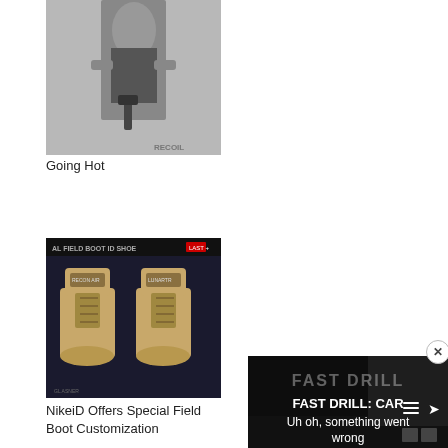[Figure (photo): Black and white photo of a woman in black dress holding a gun, with RECOIL watermark in bottom right]
Going Hot
[Figure (screenshot): Dark screenshot of NikeiD special field boots customization page showing two tan military boots from the front]
NikeiD Offers Special Field Boot Customization
[Figure (screenshot): Video player overlay showing FAST DRILL text with error message 'Uh oh, something went wrong' with playback controls and close button]